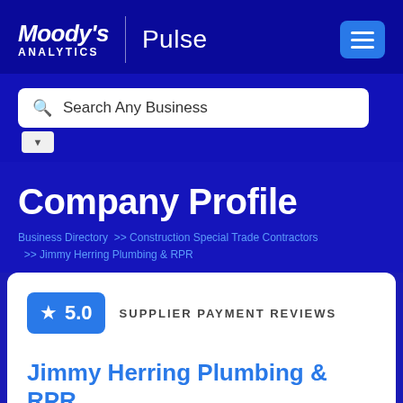Moody's Analytics | Pulse
[Figure (screenshot): Search bar with placeholder text 'Search Any Business' and a dropdown arrow below]
Company Profile
Business Directory >> Construction Special Trade Contractors >> Jimmy Herring Plumbing & RPR
5.0 SUPPLIER PAYMENT REVIEWS
Jimmy Herring Plumbing & RPR